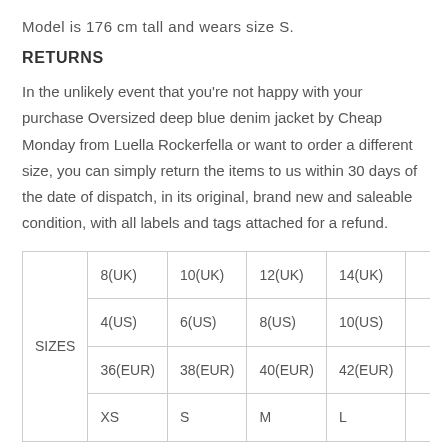Model is 176 cm tall and wears size S.
RETURNS
In the unlikely event that you're not happy with your purchase Oversized deep blue denim jacket by Cheap Monday from Luella Rockerfella or want to order a different size, you can simply return the items to us within 30 days of the date of dispatch, in its original, brand new and saleable condition, with all labels and tags attached for a refund.
|  | 8(UK) | 10(UK) | 12(UK) | 14(UK) | … |
| --- | --- | --- | --- | --- | --- |
| SIZES | 8(UK)
4(US)
36(EUR)
XS | 10(UK)
6(US)
38(EUR)
S | 12(UK)
8(US)
40(EUR)
M | 14(UK)
10(US)
42(EUR)
L | … |